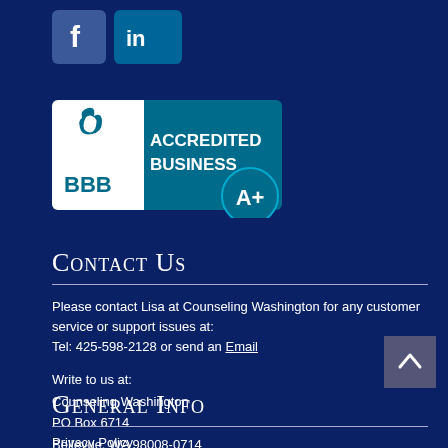[Figure (logo): Facebook and LinkedIn social media icons]
[Figure (logo): BBB Accredited Business A+ badge]
Contact Us
Please contact Lisa at Counseling Washington for any customer service or support issues at:
Tel: 425-598-2128 or send an Email
Write to us at:
Counseling Washington
PO Box 6714
Bellevue, WA 98008-0714
General Info
Privacy Policy